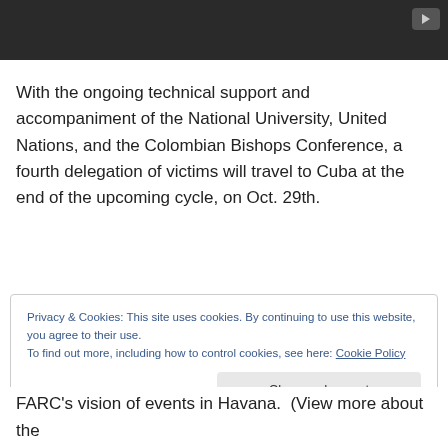[Figure (screenshot): Dark video player placeholder with a play button icon in the top-right corner]
With the ongoing technical support and accompaniment of the National University, United Nations, and the Colombian Bishops Conference, a fourth delegation of victims will travel to Cuba at the end of the upcoming cycle, on Oct. 29th.
Privacy & Cookies: This site uses cookies. By continuing to use this website, you agree to their use.
To find out more, including how to control cookies, see here: Cookie Policy
Close and accept
FARC's vision of events in Havana. (View more about the